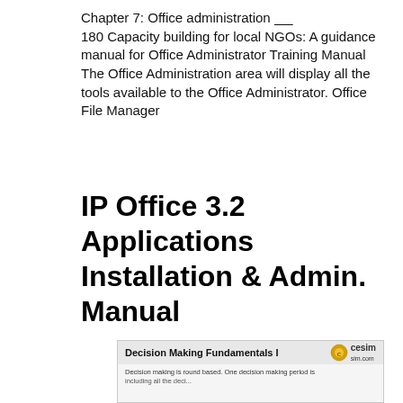Chapter 7: Office administration ____ 180 Capacity building for local NGOs: A guidance manual for Office Administrator Training Manual The Office Administration area will display all the tools available to the Office Administrator. Office File Manager
IP Office 3.2 Applications Installation & Admin. Manual
[Figure (screenshot): Screenshot of a 'Decision Making Fundamentals I' course panel with Cesim logo. Body text reads: 'Decision making is round based. One decision making period is...']